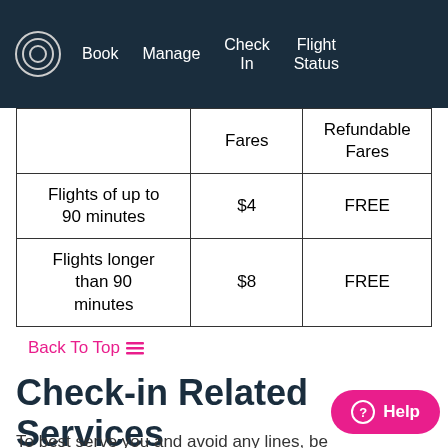Book  Manage  Check In  Flight Status
|  | Fares | Refundable Fares |
| --- | --- | --- |
| Flights of up to 90 minutes | $4 | FREE |
| Flights longer than 90 minutes | $8 | FREE |
Back To Top
Check-in Related Services
To best serve you and avoid any lines, be